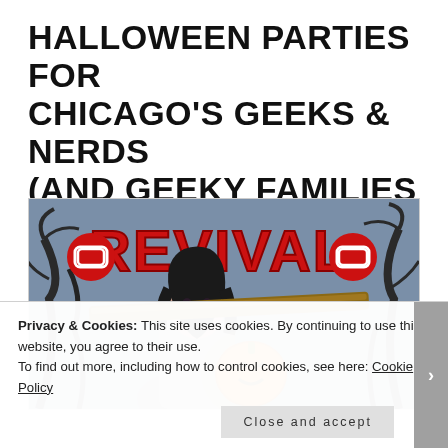HALLOWEEN PARTIES FOR CHICAGO'S GEEKS & NERDS (AND GEEKY FAMILIES TOO!)
[Figure (illustration): Comic book style illustration for 'Revival' showing a dark-haired woman holding a wooden beam/plank, with a glowing jack-o-lantern pumpkin, red block letters spelling REVIVAL, and red circular logo icons on a blue-grey background with bare tree branches.]
Privacy & Cookies: This site uses cookies. By continuing to use this website, you agree to their use.
To find out more, including how to control cookies, see here: Cookie Policy
Close and accept